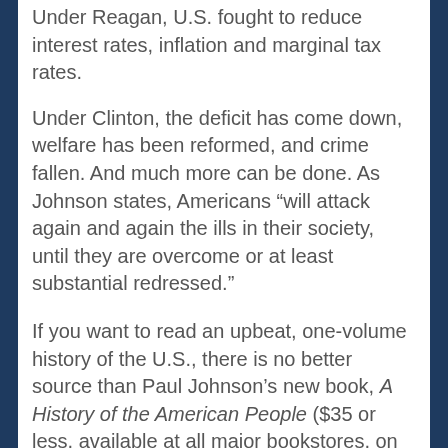Under Reagan, U.S. fought to reduce interest rates, inflation and marginal tax rates.
Under Clinton, the deficit has come down, welfare has been reformed, and crime fallen. And much more can be done. As Johnson states, Americans “will attack again and again the ills in their society, until they are overcome or at least substantial redressed.”
If you want to read an upbeat, one-volume history of the U.S., there is no better source than Paul Johnson’s new book, A History of the American People ($35 or less, available at all major bookstores, on the Internet at www.Amazon.com or through Laissez Faire Books, 800/326-0996). It is a sheer delight to read. Johnson does not hide his admiration, his